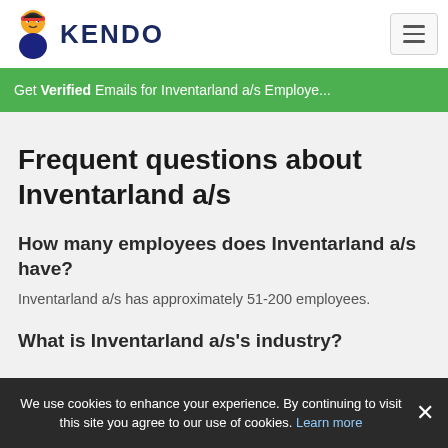KENDO
Get Verified Emails for Inventarland a/s Employees
Frequent questions about Inventarland a/s
How many employees does Inventarland a/s have?
Inventarland a/s has approximately 51-200 employees.
What is Inventarland a/s's industry?
We use cookies to enhance your experience. By continuing to visit this site you agree to our use of cookies. Learn more